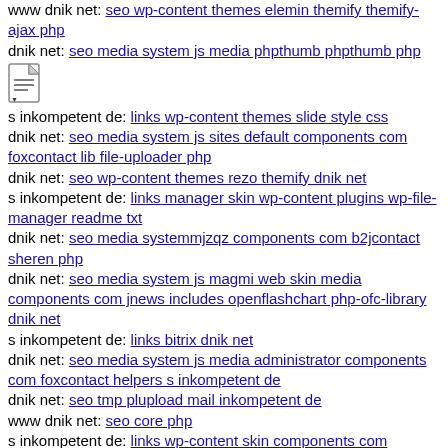www dnik net: seo wp-content themes elemin themify themify-ajax php
dnik net: seo media system js media phpthumb phpthumb php
[Figure (other): File/document icon]
s inkompetent de: links wp-content themes slide style css
dnik net: seo media system js sites default components com foxcontact lib file-uploader php
dnik net: seo wp-content themes rezo themify dnik net
s inkompetent de: links manager skin wp-content plugins wp-file-manager readme txt
dnik net: seo media systemmjzqz components com b2jcontact sheren php
dnik net: seo media system js magmi web skin media components com jnews includes openflashchart php-ofc-library dnik net
s inkompetent de: links bitrix dnik net
dnik net: seo media system js media administrator components com foxcontact helpers s inkompetent de
dnik net: seo tmp plupload mail inkompetent de
www dnik net: seo core php
s inkompetent de: links wp-content skin components com b2jcontact components com b2jcontact dlc php
www dnik net: seo media system js magmi web modules mod simplefileuploadv1 3 elements blank php
dnik net: seo media system js wp-admin includes plugins content portal portal logs components com b2jcontact includes wp-admin